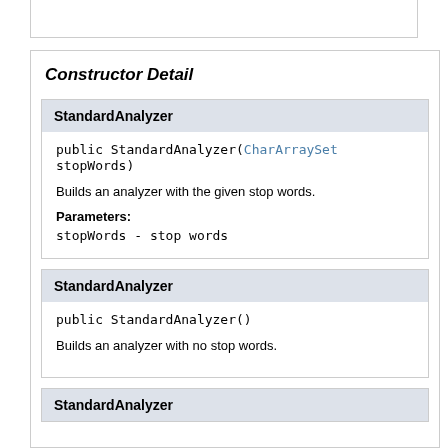Constructor Detail
StandardAnalyzer
public StandardAnalyzer(CharArraySet stopWords)
Builds an analyzer with the given stop words.
Parameters:
stopWords - stop words
StandardAnalyzer
public StandardAnalyzer()
Builds an analyzer with no stop words.
StandardAnalyzer